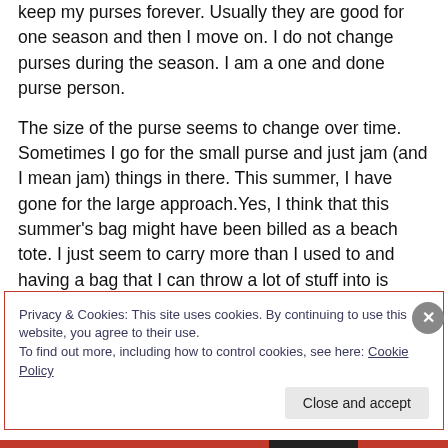keep my purses forever. Usually they are good for one season and then I move on. I do not change purses during the season. I am a one and done purse person.
The size of the purse seems to change over time. Sometimes I go for the small purse and just jam (and I mean jam) things in there. This summer, I have gone for the large approach.Yes, I think that this summer's bag might have been billed as a beach tote. I just seem to carry more than I used to and having a bag that I can throw a lot of stuff into is helpful.
Privacy & Cookies: This site uses cookies. By continuing to use this website, you agree to their use.
To find out more, including how to control cookies, see here: Cookie Policy
Close and accept